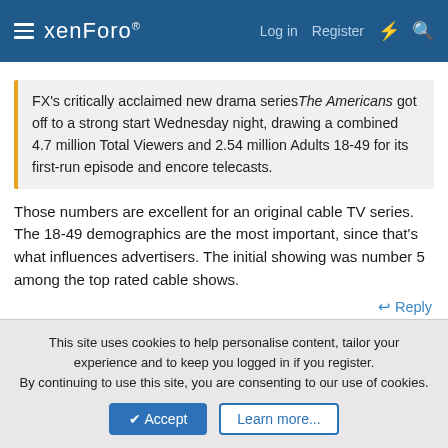xenForo — Log in  Register
FX's critically acclaimed new drama seriesThe Americans got off to a strong start Wednesday night, drawing a combined 4.7 million Total Viewers and 2.54 million Adults 18-49 for its first-run episode and encore telecasts.
Those numbers are excellent for an original cable TV series. The 18-49 demographics are the most important, since that's what influences advertisers. The initial showing was number 5 among the top rated cable shows.
↩ Reply
yavuz
This site uses cookies to help personalise content, tailor your experience and to keep you logged in if you register.
By continuing to use this site, you are consenting to our use of cookies.